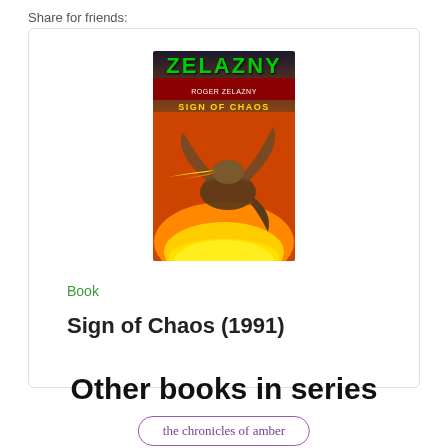Share for friends:
[Figure (illustration): Book cover of 'Sign of Chaos' (1991) by Roger Zelazny. Green text 'ZELAZNY' at top, red banner subtitle, golden 'SIGN OF CHAOS' text, dragon and fire art on cover.]
Book
Sign of Chaos (1991)
Other books in series
the chronicles of amber